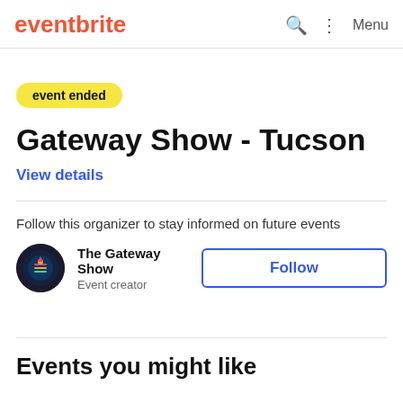eventbrite   Menu
event ended
Gateway Show - Tucson
View details
Follow this organizer to stay informed on future events
The Gateway Show
Event creator
Follow
Events you might like